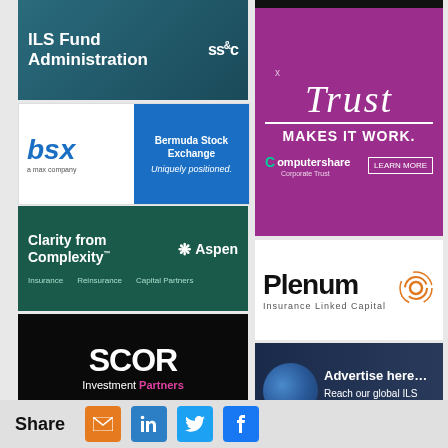[Figure (logo): SS&C ILS Fund Administration ad — dark teal background with white text 'ILS Fund Administration' and SS&C logo]
[Figure (logo): BSX Bermuda Stock Exchange ad — white and blue banner, 'bsx a max company', 'Bermuda Stock Exchange', 'Uniquely positioned.']
[Figure (logo): Aspen Insurance ad — dark green background, 'Clarity from Complexity', Aspen logo, Insurance, Reinsurance, Capital Partners]
[Figure (logo): SCOR Investment Partners ad — black background with white and pink text]
[Figure (logo): Partial earth/advertise ad at bottom left]
[Figure (logo): Black bar top right placeholder]
[Figure (logo): Computershare Corporate Trust ad — magenta background, 'Trust MAKES IT WORK.' with learn more button]
[Figure (logo): Plenum Insurance Linked Capital ad — white background with orange circular logo]
[Figure (logo): Advertise here — Reach our global ILS readership ad with globe image]
Share